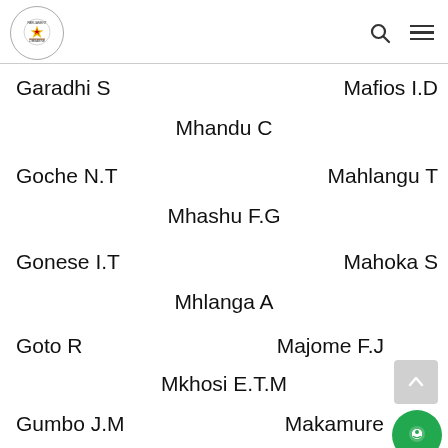Parliament of Zimbabwe header with logo, search icon, menu icon
Garadhi S
Mafios I.D
Mhandu C
Goche N.T
Mahlangu T
Mhashu F.G
Gonese I.T
Mahoka S
Mhlanga A
Goto R
Majome F.J
Mkhosi E.T.M
Gumbo J.M
Makamure
Mlilo O.S
Gwiyo
C.C
R
Makone